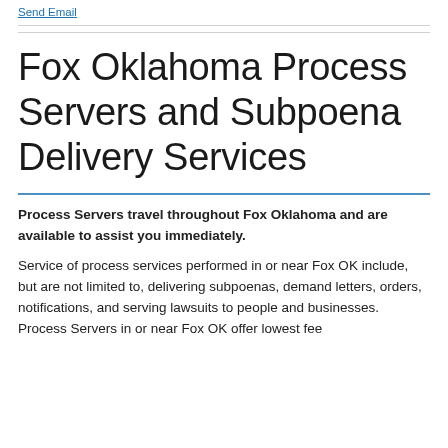Send Email
Fox Oklahoma Process Servers and Subpoena Delivery Services
Process Servers travel throughout Fox Oklahoma and are available to assist you immediately.
Service of process services performed in or near Fox OK include, but are not limited to, delivering subpoenas, demand letters, orders, notifications, and serving lawsuits to people and businesses. Process Servers in or near Fox OK offer lowest fee